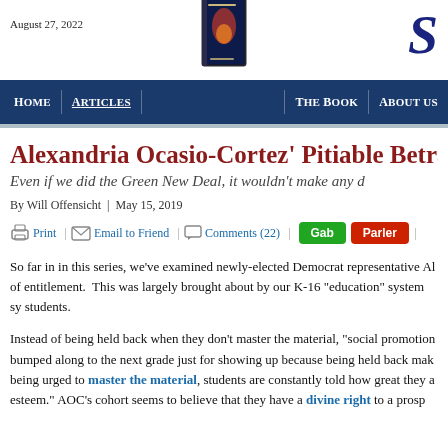August 27, 2022
[Figure (illustration): Book cover image centered in navigation area]
[Figure (logo): Stylized S logo in dark blue serif font]
Home | Articles | The Book | About us
Alexandria Ocasio-Cortez' Pitiable Betra
Even if we did the Green New Deal, it wouldn't make any d
By Will Offensicht  |  May 15, 2019
Print | Email to Friend | Comments (22) | Gab | Parler
So far in in this series, we've examined newly-elected Democrat representative Al of entitlement.  This was largely brought about by our K-16 "education" system sy students.
Instead of being held back when they don't master the material, "social promotion bumped along to the next grade just for showing up because being held back mak being urged to master the material, students are constantly told how great they a esteem." AOC's cohort seems to believe that they have a divine right to a prosp